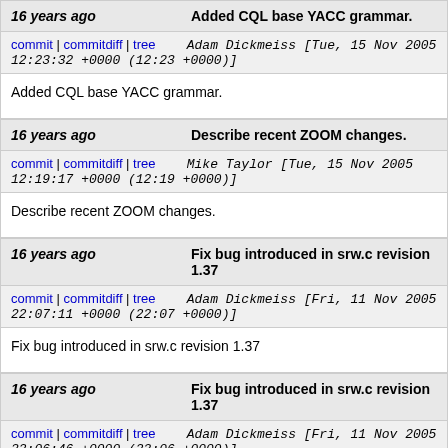16 years ago | Added CQL base YACC grammar.
commit | commitdiff | tree   Adam Dickmeiss [Tue, 15 Nov 2005 12:23:32 +0000 (12:23 +0000)]
Added CQL base YACC grammar.
16 years ago | Describe recent ZOOM changes.
commit | commitdiff | tree   Mike Taylor [Tue, 15 Nov 2005 12:19:17 +0000 (12:19 +0000)]
Describe recent ZOOM changes.
16 years ago | Fix bug introduced in srw.c revision 1.37
commit | commitdiff | tree   Adam Dickmeiss [Fri, 11 Nov 2005 22:07:11 +0000 (22:07 +0000)]
Fix bug introduced in srw.c revision 1.37
16 years ago | Fix bug introduced in srw.c revision 1.37
commit | commitdiff | tree   Adam Dickmeiss [Fri, 11 Nov 2005 22:06:46 +0000 (22:06 +0000)]
Fix bug introduced in srw.c revision 1.37